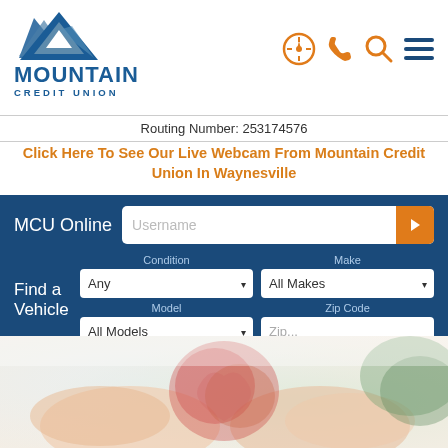[Figure (logo): Mountain Credit Union logo with mountain triangle icon in blue and gray, text MOUNTAIN CREDIT UNION in blue]
[Figure (infographic): Navigation icons: compass/location, phone, search, hamburger menu in orange and dark blue]
Routing Number: 253174576
Click Here To See Our Live Webcam From Mountain Credit Union In Waynesville
[Figure (screenshot): MCU Online login widget with Username input field and orange arrow button on dark blue background]
[Figure (infographic): Find a Vehicle form with Condition (Any), Make (All Makes), Model (All Models), Zip Code (Zip...) dropdowns and Search button on dark blue background]
[Figure (photo): Hands forming a heart shape, blurred soft background in pinks and greens]